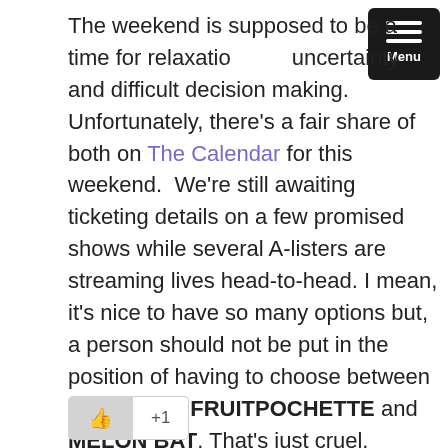[Figure (other): Black rounded rectangle menu button in top-right corner with three white horizontal lines and 'Menu' label]
The weekend is supposed to be a time for relaxation, not uncertainty and difficult decision making. Unfortunately, there's a fair share of both on The Calendar for this weekend.  We're still awaiting ticketing details on a few promised shows while several A-listers are streaming lives head-to-head. I mean, it's nice to have so many options but, a person should not be put in the position of having to choose between MANACLE, FRUITPOCHETTE and MELON BAT. That's just cruel.

For a preview of the next few days of torment, here's some of what's being livestreamed from Japan this weekend: Continue reading →
[Figure (other): Like button (thumbs up icon) and +1 count button at the bottom of the page]